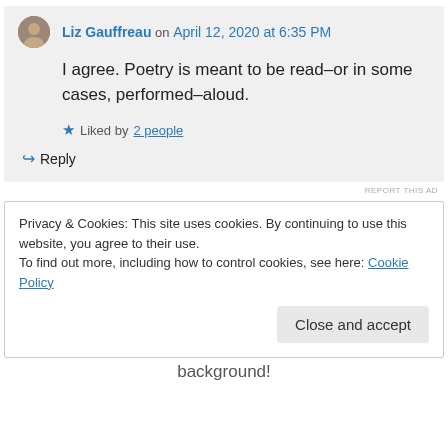Liz Gauffreau on April 12, 2020 at 6:35 PM
I agree. Poetry is meant to be read–or in some cases, performed–aloud.
Liked by 2 people
Reply
REPORT THIS AD
Privacy & Cookies: This site uses cookies. By continuing to use this website, you agree to their use. To find out more, including how to control cookies, see here: Cookie Policy
Close and accept
background!